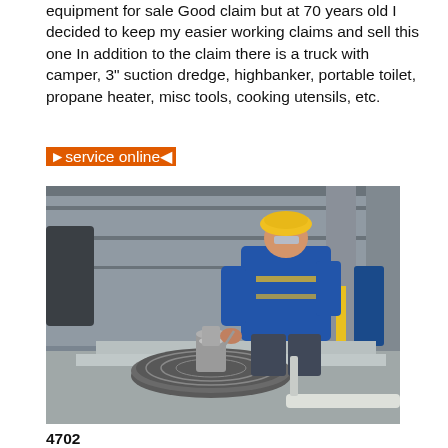equipment for sale Good claim but at 70 years old I decided to keep my easier working claims and sell this one In addition to the claim there is a truck with camper, 3" suction dredge, highbanker, portable toilet, propane heater, misc tools, cooking utensils, etc.
►service online◄
[Figure (photo): A worker in a blue jacket and yellow hard hat bending over industrial machinery component (large round disc/bearing assembly) on a factory floor with steel structures in background.]
4702
Find real estate and browse listings of properties for sale in Rubyvale, QLD 4702 Skip to Main Content Australia's largest list of properties to buy or rent Search: Buy Rent